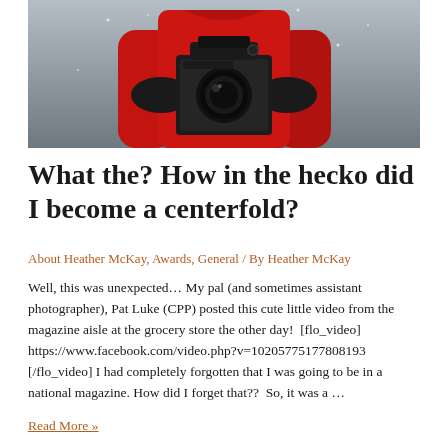[Figure (photo): Person wearing a red coat and black gloves holding a medium format camera (Mamiya RZ67 or similar) up toward camera, with grey background. Only the torso and hands visible.]
What the? How in the hecko did I become a centerfold?
About Heather McKay, Awards, General / By Heather McKay
Well, this was unexpected… My pal (and sometimes assistant photographer), Pat Luke (CPP) posted this cute little video from the magazine aisle at the grocery store the other day!  [flo_video] https://www.facebook.com/video.php?v=10205775177808193 [/flo_video] I had completely forgotten that I was going to be in a national magazine. How did I forget that??  So, it was a …
Read More »